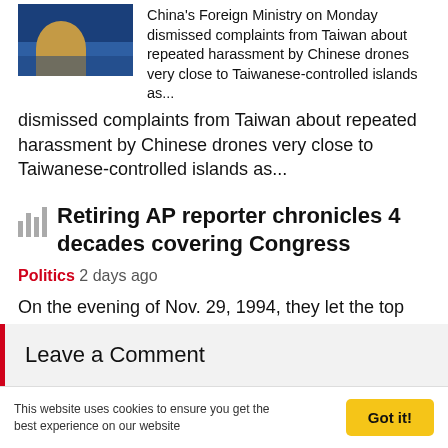[Figure (photo): Photo of a person at a press podium or similar, blue background, partial view at top of page]
China's Foreign Ministry on Monday dismissed complaints from Taiwan about repeated harassment by Chinese drones very close to Taiwanese-controlled islands as...
Retiring AP reporter chronicles 4 decades covering Congress
Politics   2 days ago
On the evening of Nov. 29, 1994, they let the top Republican preside, briefly, over the chamber. It was a display of respect and affection toward Minority...
Leave a Comment
This website uses cookies to ensure you get the best experience on our website